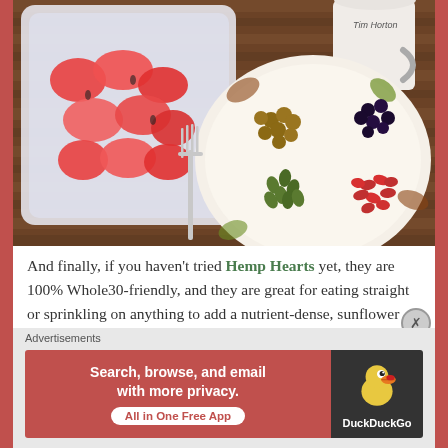[Figure (photo): Food photo showing a plastic container with cubed watermelon pieces, a decorative plate with hazelnuts, dried blueberries, pumpkin seeds, and goji berries, a silver fork, and a Tim Hortons mug on a wooden table.]
And finally, if you haven't tried Hemp Hearts yet, they are 100% Whole30-friendly, and they are great for eating straight or sprinkling on anything to add a nutrient-dense, sunflower seed flavor to any dish:
[Figure (screenshot): DuckDuckGo advertisement banner: red left side reading 'Search, browse, and email with more privacy. All in One Free App' with white button, and dark right side with DuckDuckGo duck logo and text 'DuckDuckGo'.]